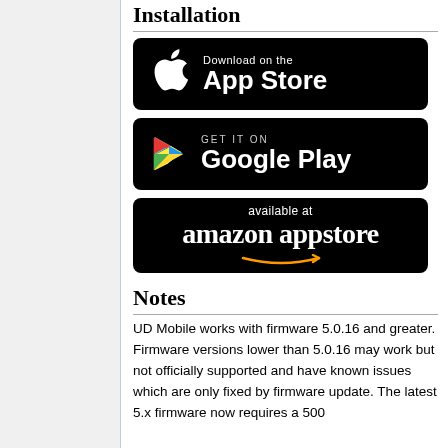Installation
[Figure (logo): Download on the App Store badge (black background, Apple logo, white text)]
[Figure (logo): Get it on Google Play badge (black background, Google Play triangle logo, white text)]
[Figure (logo): Available at amazon appstore badge (black background, amazon logo with arrow, white text)]
Notes
UD Mobile works with firmware 5.0.16 and greater. Firmware versions lower than 5.0.16 may work but not officially supported and have known issues which are only fixed by firmware update. The latest 5.x firmware now requires a 500